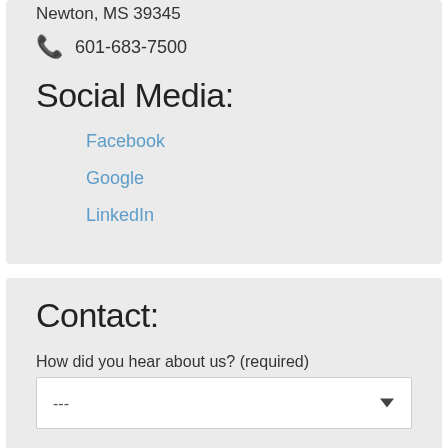Newton, MS 39345
601-683-7500
Social Media:
Facebook
Google
LinkedIn
Contact:
How did you hear about us? (required)
---
Your Name (required)